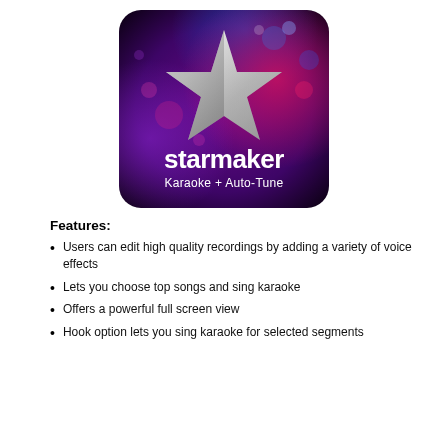[Figure (logo): StarMaker app logo: dark rounded rectangle with a large silver 3D star on a colorful purple/pink/blue bokeh background, with white text 'starmaker' and below it 'Karaoke + Auto-Tune']
Features:
Users can edit high quality recordings by adding a variety of voice effects
Lets you choose top songs and sing karaoke
Offers a powerful full screen view
Hook option lets you sing karaoke for selected segments